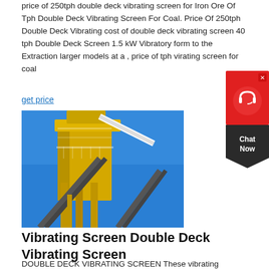price of 250tph double deck vibrating screen for Iron Ore Of Tph Double Deck Vibrating Screen For Coal. Price Of 250tph Double Deck Vibrating cost of double deck vibrating screen 40 tph Double Deck Screen 1.5 kW Vibratory form to the Extraction larger models at a , price of tph virating screen for coal
get price
[Figure (photo): Industrial vibrating screen double deck equipment structure against blue sky, yellow metal framework with conveyor belts]
[Figure (other): Chat Now widget with headset icon, red and dark background]
Vibrating Screen Double Deck Vibrating Screen
DOUBLE DECK VIBRATING SCREEN These vibrating screens are